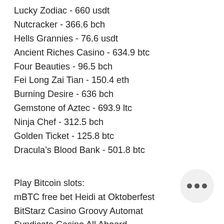Lucky Zodiac - 660 usdt
Nutcracker - 366.6 bch
Hells Grannies - 76.6 usdt
Ancient Riches Casino - 634.9 btc
Four Beauties - 96.5 bch
Fei Long Zai Tian - 150.4 eth
Burning Desire - 636 bch
Gemstone of Aztec - 693.9 ltc
Ninja Chef - 312.5 bch
Golden Ticket - 125.8 btc
Dracula’s Blood Bank - 501.8 btc
Play Bitcoin slots:
mBTC free bet Heidi at Oktoberfest
BitStarz Casino Groovy Automat
Syndicate Casino All Aboard
BitcoinCasino.us Royal Wins
King Billy Casino Jingle Bells
Syndicate Casino Cutie Cat moorhuhn Shooter
CryptoWild Casino Viking Age